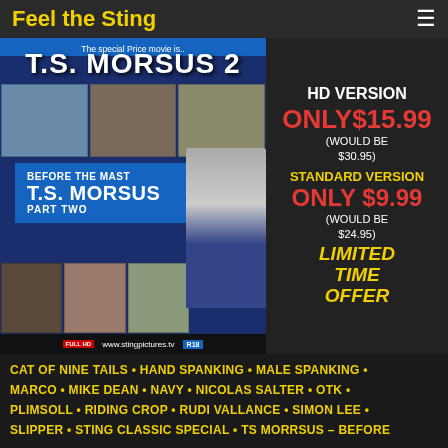Feel the Sting
[Figure (advertisement): Promotional advertisement for T.S. Morsus 2 movie. Left side shows movie cover art with title 'BEFORE THE MAST T.S. MORSUS PART TWO' in blue background with photo stills. Right side shows pricing: HD VERSION ONLY $15.99 (WOULD BE $30.95), STANDARD VERSION ONLY $9.99 (WOULD BE $24.95), LIMITED TIME OFFER. URL: www.stingpictures.tv]
CAT OF NINE TAILS • HAND SPANKING • MALE SPANKING •
MARCO • MIKE DEAN • NAVY • NICOLAS SALTER • OTK •
PLIMSOLL • RIDING CROP • RUDI VALLANCE • SIMON LEE •
SLIPPER • STING CLASSIC SPECIAL • TS MORRSUS – BEFORE